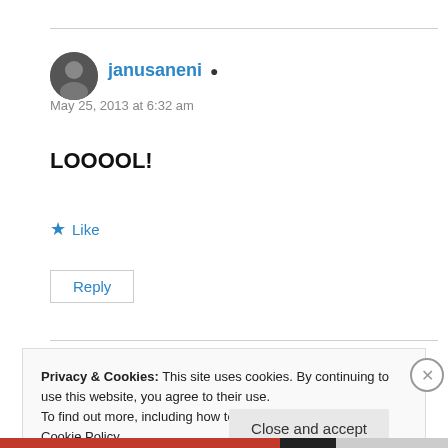janusaneni
May 25, 2013 at 6:32 am
LOOOOL!
Like
Reply
Privacy & Cookies: This site uses cookies. By continuing to use this website, you agree to their use.
To find out more, including how to control cookies, see here: Cookie Policy
Close and accept